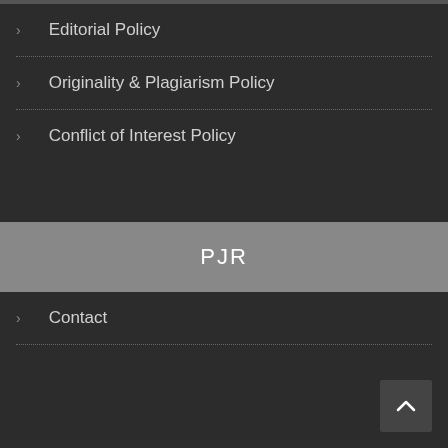Editorial Policy
Originality & Plagiarism Policy
Conflict of Interest Policy
PJR
Contact